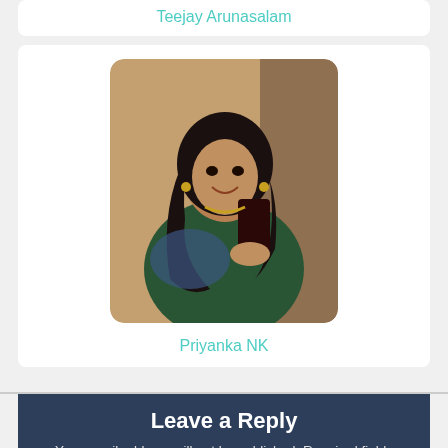Teejay Arunasalam
[Figure (photo): Profile photo of Priyanka NK – a young woman in a green traditional outfit taking a mirror selfie with a dark smartphone, long curly black hair, smiling]
Priyanka NK
Leave a Reply
Your email address will not be published. Required fields